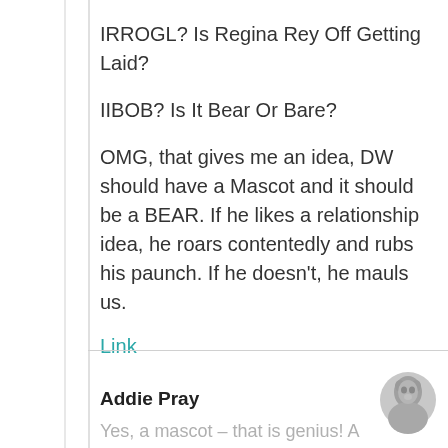IRROGL? Is Regina Rey Off Getting Laid?
IIBOB? Is It Bear Or Bare?
OMG, that gives me an idea, DW should have a Mascot and it should be a BEAR. If he likes a relationship idea, he roars contentedly and rubs his paunch. If he doesn't, he mauls us.
Link
Addie Pray
Yes, a mascot – that is genius! A bear is the perfect mascot. His first name